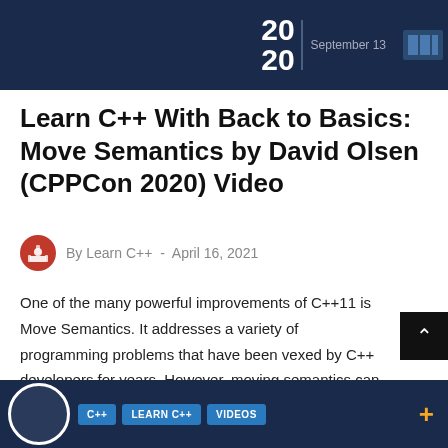[Figure (screenshot): Dark navy banner header with '2020' year text and 'September 13' date, CPPCon logo area on right]
Learn C++ With Back to Basics: Move Semantics by David Olsen (CPPCon 2020) Video
By Learn C++  -  April 16, 2021
One of the many powerful improvements of C++11 is Move Semantics. It addresses a variety of programming problems that have been vexed by C++ developers for years. However, moving semantics can be easily misused, and the nuances are often difficult to get correct. This…
[Figure (screenshot): Dark navy banner footer with C++, LEARN C++, VIDEOS tag buttons and circular icon, plus yellow plus icon]